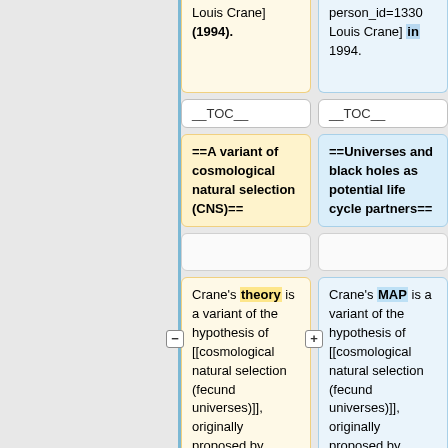Louis Crane] (1994).
person_id=1330 Louis Crane] in 1994.
__TOC__
__TOC__
==A variant of cosmological natural selection (CNS)==
==Universes and black holes as potential life cycle partners==
Crane's theory is a variant of the hypothesis of [[cosmological natural selection (fecund universes)]], originally proposed by cosmologist
Crane's MAP is a variant of the hypothesis of [[cosmological natural selection (fecund universes)]], originally proposed by cosmologist